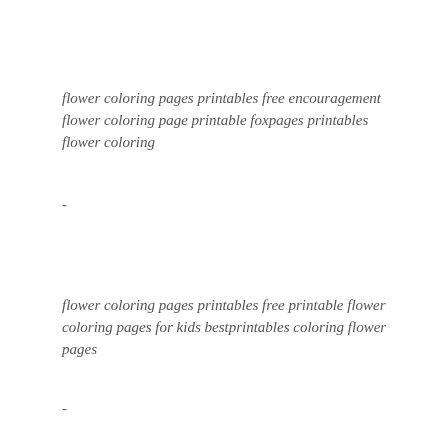flower coloring pages printables free encouragement flower coloring page printable foxpages printables flower coloring
-
flower coloring pages printables free printable flower coloring pages for kids bestprintables coloring flower pages
-